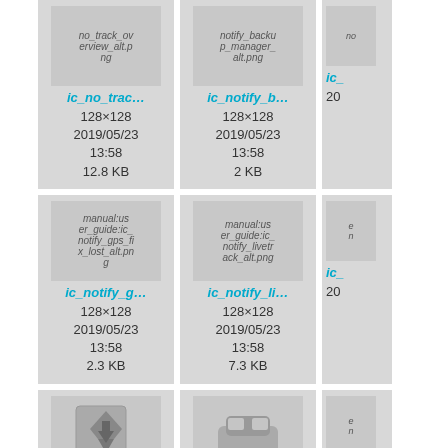[Figure (screenshot): File browser thumbnail grid showing image files with metadata. Row 1: ic_no_track_overview_alt.png (128x128, 2019/05/23 13:58, 12.8 KB), ic_notify_backup_manager_alt.png (128x128, 2019/05/23 13:58, 2 KB), partially visible third card. Row 2: ic_notify_gps_fix_lost_alt.png (128x128, 2019/05/23 13:58, 2.3 KB), ic_notify_livetrack_alt.png (128x128, 2019/05/23 13:58, 7.3 KB), partially visible third card. Row 3: two icon thumbnails and a partially visible third card.]